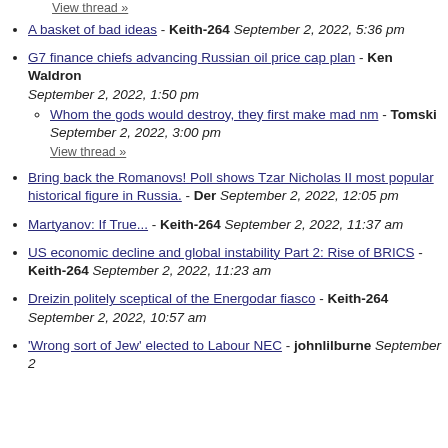View thread »
A basket of bad ideas - Keith-264 September 2, 2022, 5:36 pm
G7 finance chiefs advancing Russian oil price cap plan - Ken Waldron September 2, 2022, 1:50 pm
Whom the gods would destroy, they first make mad nm - Tomski September 2, 2022, 3:00 pm
View thread »
Bring back the Romanovs! Poll shows Tzar Nicholas II most popular historical figure in Russia. - Der September 2, 2022, 12:05 pm
Martyanov: If True... - Keith-264 September 2, 2022, 11:37 am
US economic decline and global instability Part 2: Rise of BRICS - Keith-264 September 2, 2022, 11:23 am
Dreizin politely sceptical of the Energodar fiasco - Keith-264 September 2, 2022, 10:57 am
'Wrong sort of Jew' elected to Labour NEC - johnlilburne September 2,